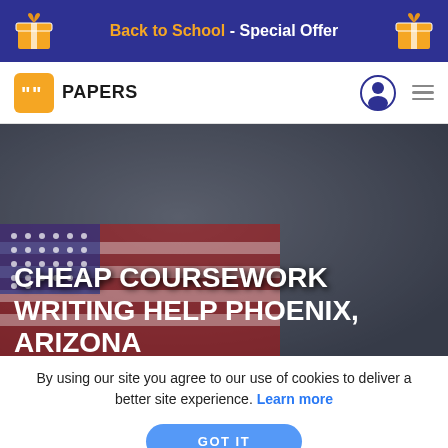Back to School - Special Offer
[Figure (logo): 99papers logo with navigation bar including user icon and hamburger menu]
[Figure (photo): Hero image showing two students looking at a book, overlaid with a US flag graphic. Large white bold text reads: CHEAP COURSEWORK WRITING HELP PHOENIX, ARIZONA]
By using our site you agree to our use of cookies to deliver a better site experience. Learn more
GOT IT